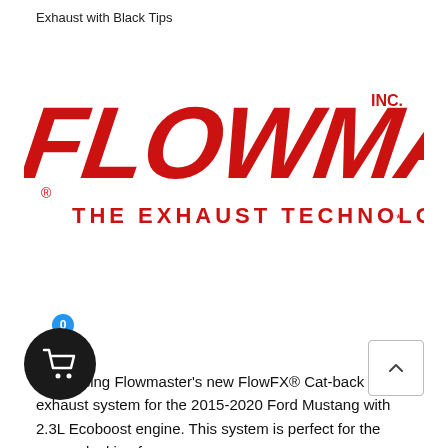Exhaust with Black Tips
[Figure (logo): Flowmaster Inc. logo — red bold italic text reading FLOWMASTER with tagline THE EXHAUST TECHNOLOGY COMPANY]
Introducing Flowmaster's new FlowFX® Cat-back exhaust system for the 2015-2020 Ford Mustang with 2.3L Ecoboost engine. This system is perfect for the person looking for a